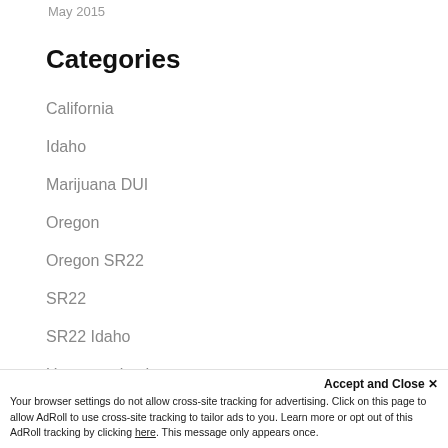May 2015
Categories
California
Idaho
Marijuana DUI
Oregon
Oregon SR22
SR22
SR22 Idaho
Uncategorized
Washington broad form
Washington SR22
Accept and Close ✕
Your browser settings do not allow cross-site tracking for advertising. Click on this page to allow AdRoll to use cross-site tracking to tailor ads to you. Learn more or opt out of this AdRoll tracking by clicking here. This message only appears once.